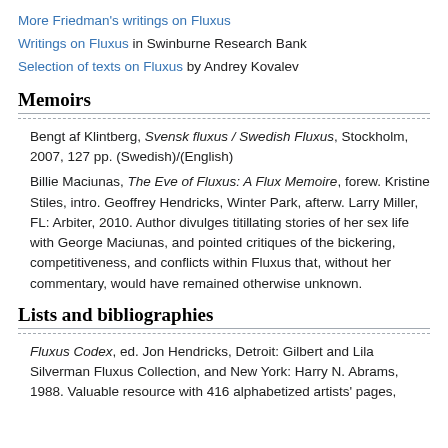More Friedman's writings on Fluxus
Writings on Fluxus in Swinburne Research Bank
Selection of texts on Fluxus by Andrey Kovalev
Memoirs
Bengt af Klintberg, Svensk fluxus / Swedish Fluxus, Stockholm, 2007, 127 pp. (Swedish)/(English)
Billie Maciunas, The Eve of Fluxus: A Flux Memoire, forew. Kristine Stiles, intro. Geoffrey Hendricks, Winter Park, afterw. Larry Miller, FL: Arbiter, 2010. Author divulges titillating stories of her sex life with George Maciunas, and pointed critiques of the bickering, competitiveness, and conflicts within Fluxus that, without her commentary, would have remained otherwise unknown.
Lists and bibliographies
Fluxus Codex, ed. Jon Hendricks, Detroit: Gilbert and Lila Silverman Fluxus Collection, and New York: Harry N. Abrams, 1988. Valuable resource with 416 alphabetized artists' pages,